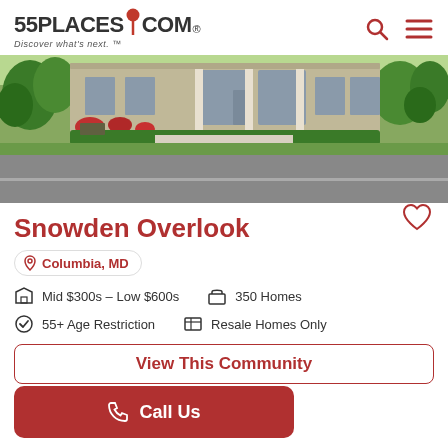55PLACES.COM — Discover what's next.
[Figure (photo): Exterior photo of Snowden Overlook community showing stone building facade with white columns, manicured shrubs, red flowering plants, trees, and a curved driveway.]
Snowden Overlook
Columbia, MD
Mid $300s - Low $600s   350 Homes
55+ Age Restriction   Resale Homes Only
View This Community
Call Us